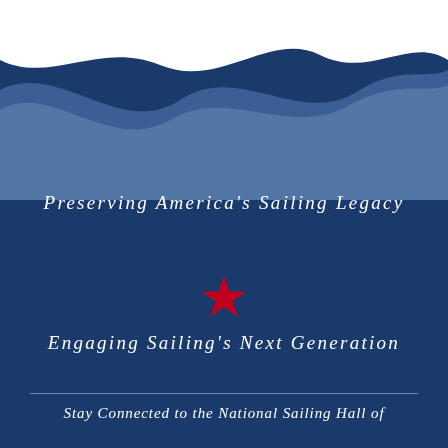[Figure (illustration): Dark navy blue background with layered wave shapes at top: white wave on top, a medium steel-blue wave underneath, forming a flowing water design]
Preserving America's Sailing Legacy
[Figure (illustration): Red star icon centered on navy background]
Engaging Sailing's Next Generation
Stay Connected to the National Sailing Hall of